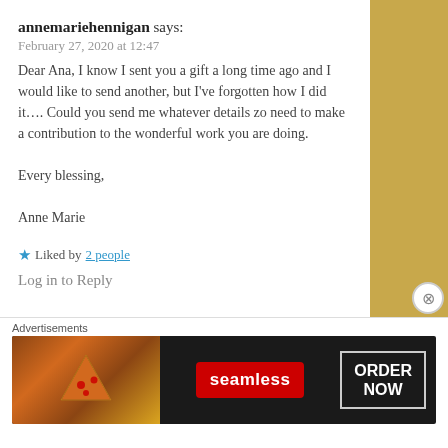annemariehennigan says:
February 27, 2020 at 12:47
Dear Ana, I know I sent you a gift a long time ago and I would like to send another, but I've forgotten how I did it…. Could you send me whatever details zo need to make a contribution to the wonderful work you are doing.

Every blessing,

Anne Marie
★ Liked by 2 people
Log in to Reply
Advertisements
[Figure (other): Seamless food delivery advertisement banner with pizza image, seamless logo, and ORDER NOW button]